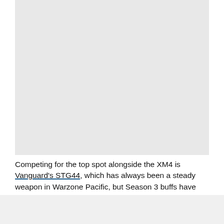[Figure (photo): Gray placeholder image area representing a photo of a weapon or game screenshot]
Competing for the top spot alongside the XM4 is Vanguard's STG44, which has always been a steady weapon in Warzone Pacific, but Season 3 buffs have increased its viability. Now, a Warzone expert has revealed the STG44's fastest-killing loadout.